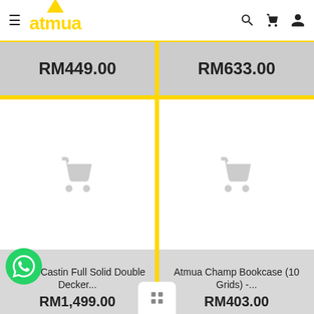[Figure (screenshot): Atmua e-commerce website header with hamburger menu, yellow triangle logo, 'atmua' text, search icon, cart icon, user icon]
RM449.00
RM633.00
[Figure (photo): Product placeholder image with grey shopping cart icon for Atmua Castin Full Solid Double Decker item]
Atmua Castin Full Solid Double Decker...
RM1,499.00
[Figure (photo): Product placeholder image with grey shopping cart icon for Atmua Champ Bookcase (10 Grids) item]
Atmua Champ Bookcase (10 Grids) -...
RM403.00